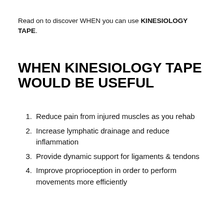Read on to discover WHEN you can use KINESIOLOGY TAPE.
WHEN KINESIOLOGY TAPE WOULD BE USEFUL
Reduce pain from injured muscles as you rehab
Increase lymphatic drainage and reduce inflammation
Provide dynamic support for ligaments & tendons
Improve proprioception in order to perform movements more efficiently